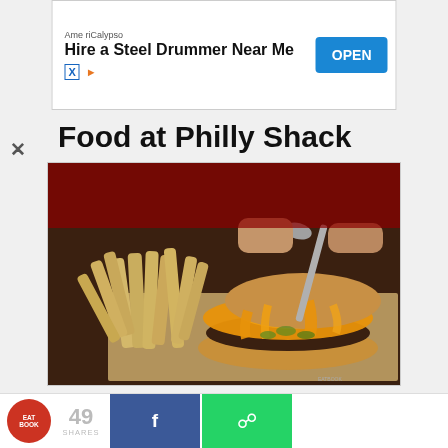[Figure (screenshot): Advertisement banner: AmeriCalypso - Hire a Steel Drummer Near Me, with OPEN button in blue]
Food at Philly Shack
[Figure (photo): A cheesesteak sandwich being served with cheese whiz being poured over it, accompanied by french fries on parchment paper on a dark wooden table.]
Of course, one does not simply visit Philly Shack
[Figure (screenshot): Bottom bar with EatBook logo, 49 shares count, Facebook share button, and WhatsApp share button]